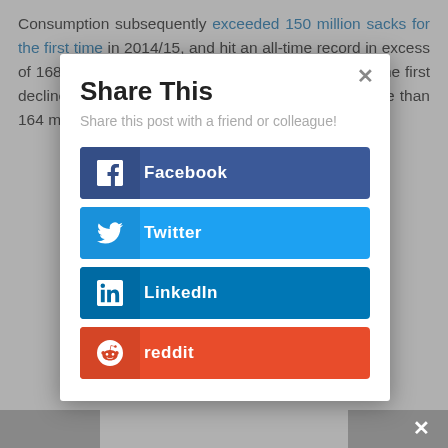Consumption subsequently exceeded 150 million sacks for the first time in 2014/15, and hit an all-time record in excess of 168 million sacks in 2018/19. While 2019/20 saw the first decline in consumption in a decade, it still sat at more than 164 million sacks, and is expected to bounce
[Figure (screenshot): A modal dialog titled 'Share This' with subtitle 'Share this post with a friend or colleague!' and four social share buttons: Facebook (dark blue), Twitter (light blue), LinkedIn (blue), and reddit (orange-red). There is a close (x) button in the top right of the modal.]